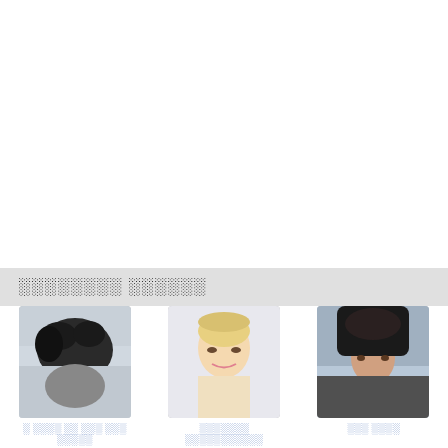░░░░░░░░ ░░░░░░
[Figure (photo): Thumbnail photo 1 - dark horse in snow scene]
░ ░░░░ ░░ ░░░ ░░░ ░░░░░
[Figure (photo): Thumbnail photo 2 - blonde woman]
░░░░░░░ ░░░░░░░░░░░
[Figure (photo): Thumbnail photo 3 - woman in dark hood]
░░░ ░░░░
[Figure (photo): Thumbnail photo 4 - dark haired woman]
░░░░ ░░░░░
[Figure (photo): Thumbnail photo 5 - girl with glasses]
Sansa Stark
[Figure (photo): Thumbnail photo 6 - blonde woman]
░░░░░░░░ ░░░░░░░